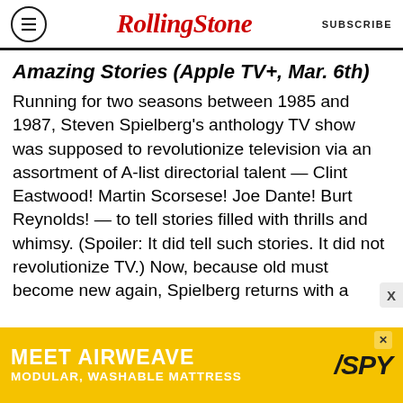Rolling Stone | SUBSCRIBE
Amazing Stories (Apple TV+, Mar. 6th)
Running for two seasons between 1985 and 1987, Steven Spielberg's anthology TV show was supposed to revolutionize television via an assortment of A-list directorial talent — Clint Eastwood! Martin Scorsese! Joe Dante! Burt Reynolds! — to tell stories filled with thrills and whimsy. (Spoiler: It did tell such stories. It did not revolutionize TV.) Now, because old must become new again, Spielberg returns with a revival of the series for Apple TV+, complete with tales of superheoric grampas and time-bending romances. It'll have a hard time topping the original's great opening credits sequence.
[Figure (infographic): Advertisement banner: MEET AIRWEAVE MODULAR, WASHABLE MATTRESS with SPY logo on yellow background]